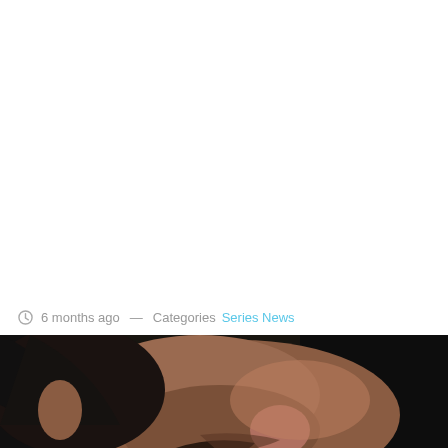6 months ago — Categories Series News
[Figure (photo): Close-up photo of a person lying down among leaves and plants, face tilted back, stubble visible, dark hair, surrounded by green foliage and autumn leaves, dark background.]